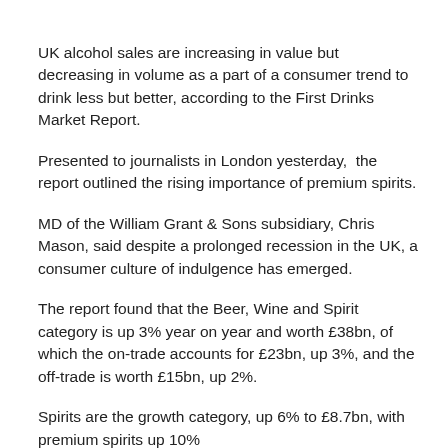UK alcohol sales are increasing in value but decreasing in volume as a part of a consumer trend to drink less but better, according to the First Drinks Market Report.
Presented to journalists in London yesterday,  the report outlined the rising importance of premium spirits.
MD of the William Grant & Sons subsidiary, Chris Mason, said despite a prolonged recession in the UK, a consumer culture of indulgence has emerged.
The report found that the Beer, Wine and Spirit category is up 3% year on year and worth £38bn, of which the on-trade accounts for £23bn, up 3%, and the off-trade is worth £15bn, up 2%.
Spirits are the growth category, up 6% to £8.7bn, with premium spirits up 10%...